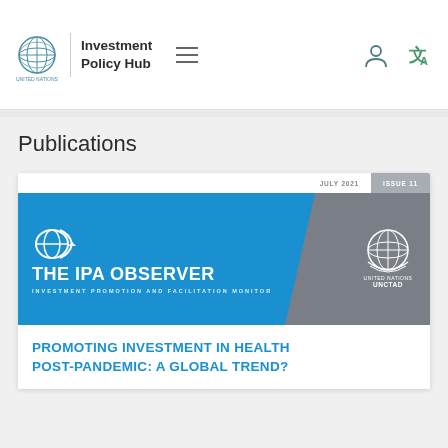Investment Policy Hub
Publications
[Figure (screenshot): The IPA Observer publication cover - JULY 2021, ISSUE 11. Blue banner with THE IPA OBSERVER INVESTMENT PROMOTION AND FACILITATION MONITOR text and UNCTAD logo. Below: PROMOTING INVESTMENT IN HEALTH POST-PANDEMIC: A GLOBAL TREND?]